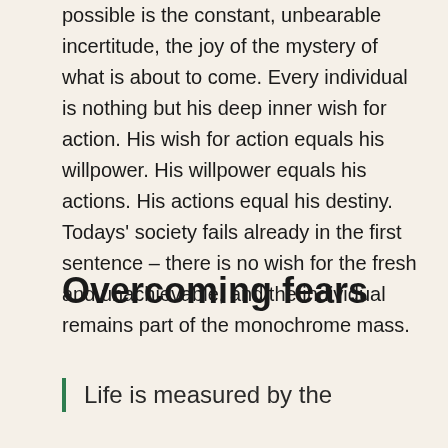possible is the constant, unbearable incertitude, the joy of the mystery of what is about to come. Every individual is nothing but his deep inner wish for action. His wish for action equals his willpower. His willpower equals his actions. His actions equal his destiny. Todays' society fails already in the first sentence – there is no wish for the fresh and unachievable, and the individual remains part of the monochrome mass.
Overcoming fears
Life is measured by the